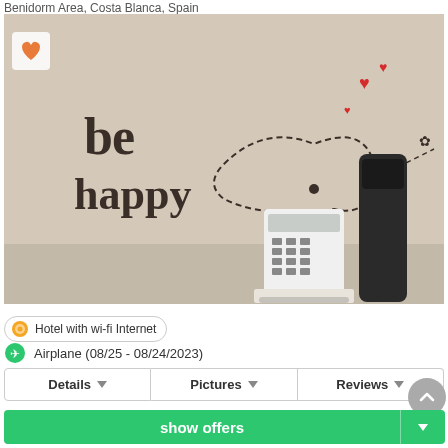Benidorm Area, Costa Blanca, Spain
[Figure (photo): Hotel room wall with 'be happy' text and heart decorations, with a white keypad device and black telephone handset mounted on the wall. An orange heart icon (favorite button) appears in the top-left corner.]
Hotel with wi-fi Internet
Airplane (08/25 - 08/24/2023)
Details
Pictures
Reviews
show offers